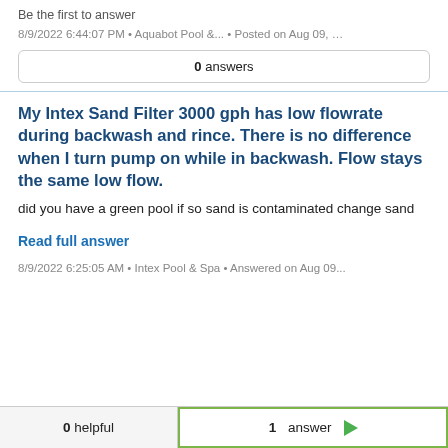Be the first to answer
8/9/2022 6:44:07 PM • Aquabot Pool &... • Posted on Aug 09, …
0 answers
My Intex Sand Filter 3000 gph has low flowrate during backwash and rince. There is no difference when I turn pump on while in backwash. Flow stays the same low flow.
did you have a green pool if so sand is contaminated change sand
Read full answer
8/9/2022 6:25:05 AM • Intex Pool & Spa • Answered on Aug 09...
0 helpful    1 answer